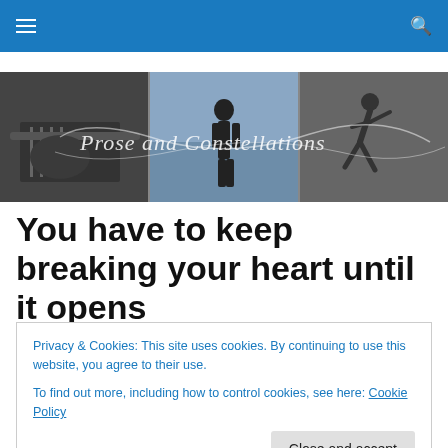[Figure (photo): Black and white banner image showing three panels: a guitarist's hands, a person standing near water with sky, and a ballerina/dancer. Overlaid with cursive text reading 'Prose and Constellations'.]
You have to keep breaking your heart until it opens
The above Rumi quote, accompanied by this striking
Privacy & Cookies: This site uses cookies. By continuing to use this website, you agree to their use. To find out more, including how to control cookies, see here: Cookie Policy
something's changed. And that something can only be